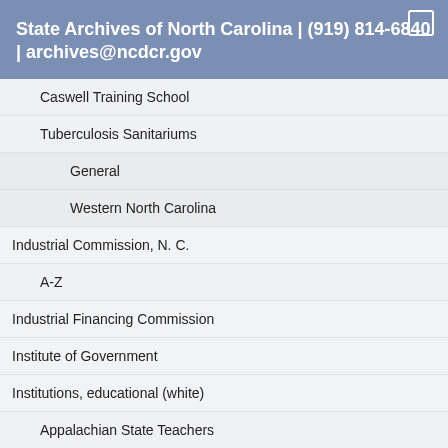State Archives of North Carolina | (919) 814-6840 | archives@ncdcr.gov
Caswell Training School
Tuberculosis Sanitariums
General
Western North Carolina
Industrial Commission, N. C.
A-Z
Industrial Financing Commission
Institute of Government
Institutions, educational (white)
Appalachian State Teachers
College East Carolina College